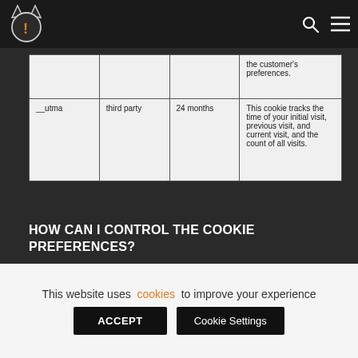[Figure (logo): Cat face logo in circle with ears, orange exclamation mark inside]
|  |  |  | the customer's preferences. |
| __utma | third party | 24 months | This cookie tracks the time of your initial visit, previous visit, and current visit, and the count of all visits. |
HOW CAN I CONTROL THE COOKIE PREFERENCES?
You can delete cookies by clicking the link bellow.
This website uses cookies to improve your experience
ACCEPT
Cookie Settings